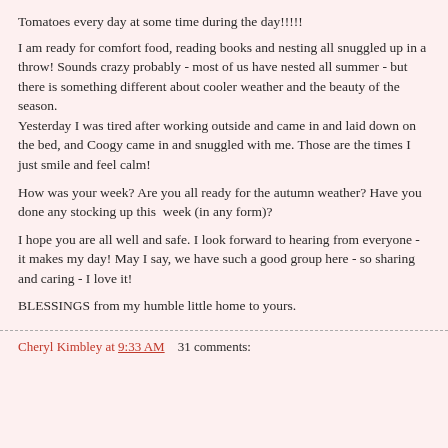Tomatoes every day at some time during the day!!!!!
I am ready for comfort food, reading books and nesting all snuggled up in a throw!  Sounds crazy probably - most of us have nested all summer - but there is something different about cooler weather and the beauty of the season.
Yesterday I was tired after working outside and came in and laid down on the bed, and Coogy came in and snuggled with me.  Those are the times I just smile and feel calm!
How was your week?  Are you all ready for the autumn weather?  Have you done any stocking up this  week (in any form)?
I hope you are all well and safe.  I look forward to hearing from everyone - it makes my day!  May I say, we have such a good group here - so sharing and caring - I love it!
BLESSINGS from my humble little home to yours.
Cheryl Kimbley at 9:33 AM    31 comments: